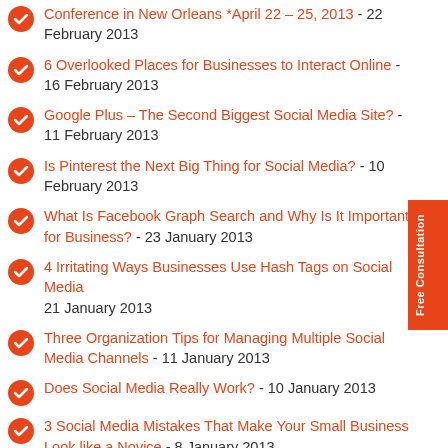Conference in New Orleans *April 22 – 25, 2013 - 22 February 2013
6 Overlooked Places for Businesses to Interact Online - 16 February 2013
Google Plus – The Second Biggest Social Media Site? - 11 February 2013
Is Pinterest the Next Big Thing for Social Media? - 10 February 2013
What Is Facebook Graph Search and Why Is It Important for Business? - 23 January 2013
4 Irritating Ways Businesses Use Hash Tags on Social Media 21 January 2013
Three Organization Tips for Managing Multiple Social Media Channels - 11 January 2013
Does Social Media Really Work? - 10 January 2013
3 Social Media Mistakes That Make Your Small Business Look like a Novice - 8 January 2013